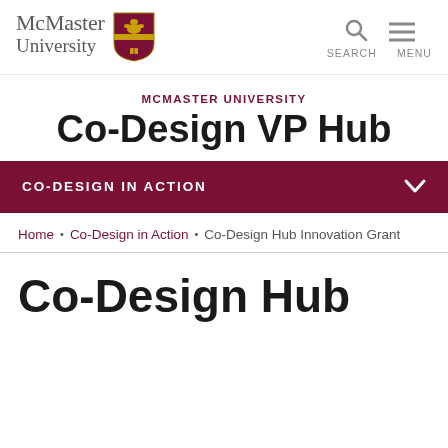McMaster University
MCMASTER UNIVERSITY
Co-Design VP Hub
CO-DESIGN IN ACTION
Home • Co-Design in Action • Co-Design Hub Innovation Grant
Co-Design Hub